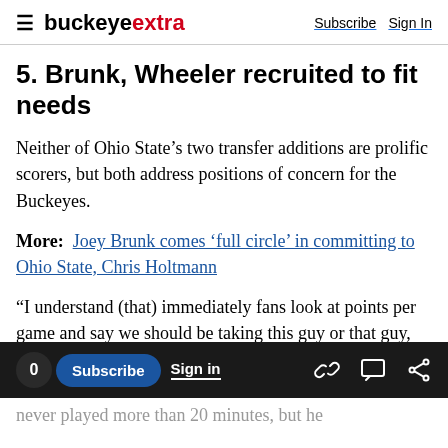buckeyextra  Subscribe  Sign In
5. Brunk, Wheeler recruited to fit needs
Neither of Ohio State’s two transfer additions are prolific scorers, but both address positions of concern for the Buckeyes.
More:  Joey Brunk comes ‘full circle’ in committing to Ohio State, Chris Holtmann
“I understand (that) immediately fans look at points per game and say we should be taking this guy or that guy, but you’re trying to assemble a team,” Holtmann said. “I just felt like with Jamari he answered some questions with perimeter play,
never played more than 20 minutes, but he